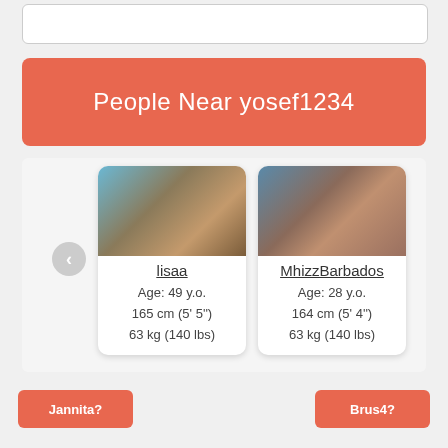People Near yosef1234
[Figure (screenshot): Profile card for user 'lisaa' with photo, age 49 y.o., 165 cm (5' 5''), 63 kg (140 lbs)]
lisaa
Age: 49 y.o.
165 cm (5' 5'')
63 kg (140 lbs)
[Figure (screenshot): Profile card for user 'MhizzBarbados' with photo, age 28 y.o., 164 cm (5' 4''), 63 kg (140 lbs)]
MhizzBarbados
Age: 28 y.o.
164 cm (5' 4'')
63 kg (140 lbs)